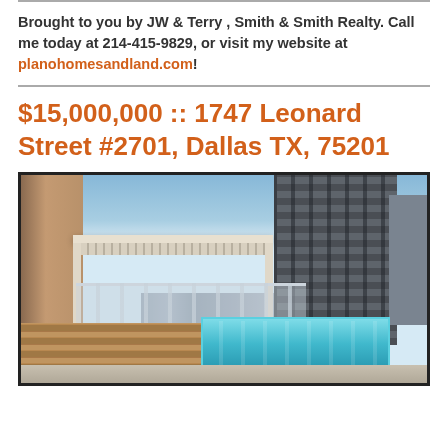Brought to you by JW & Terry , Smith & Smith Realty. Call me today at 214-415-9829, or visit my website at planohomesandland.com!
$15,000,000 :: 1747 Leonard Street #2701, Dallas TX, 75201
[Figure (photo): Rooftop terrace with swimming pool, wood deck, pergola structure, and downtown Dallas skyline with tall glass skyscraper in background under blue sky.]